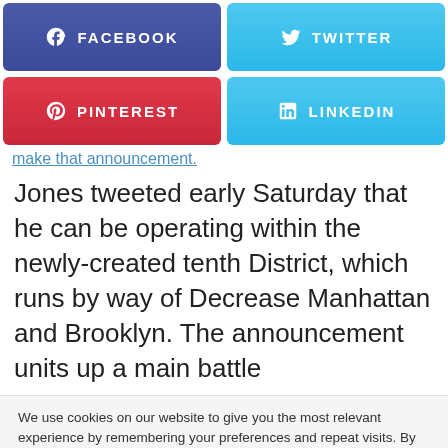[Figure (infographic): Social share buttons: Facebook (blue-purple), Twitter (light blue), Pinterest (red), LinkedIn (light blue)]
make that announcement.
Jones tweeted early Saturday that he can be operating within the newly-created tenth District, which runs by way of Decrease Manhattan and Brooklyn. The announcement units up a main battle
We use cookies on our website to give you the most relevant experience by remembering your preferences and repeat visits. By clicking “Accept All”, you consent to the use of ALL the cookies. However, you may visit "Cookie Settings" to provide a controlled consent.
Cookie Settings
Accept All